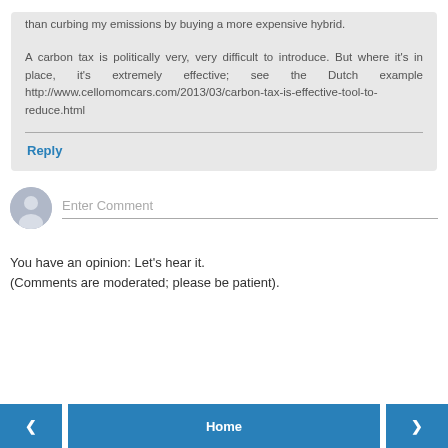than curbing my emissions by buying a more expensive hybrid.

A carbon tax is politically very, very difficult to introduce. But where it's in place, it's extremely effective; see the Dutch example http://www.cellomomcars.com/2013/03/carbon-tax-is-effective-tool-to-reduce.html
Reply
[Figure (other): User avatar placeholder icon — grey circle with silhouette]
Enter Comment
You have an opinion: Let's hear it.
(Comments are moderated; please be patient).
< Home >